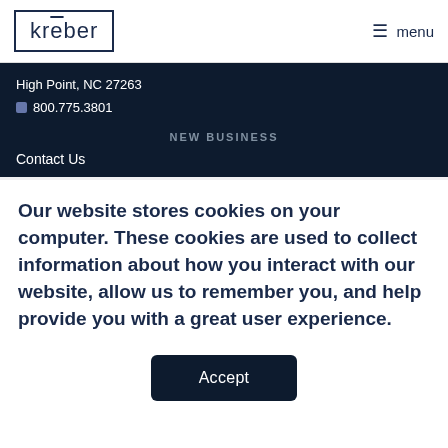kreber | menu
High Point, NC 27263
☎ 800.775.3801
NEW BUSINESS
Contact Us
Our website stores cookies on your computer. These cookies are used to collect information about how you interact with our website, allow us to remember you, and help provide you with a great user experience.
Accept